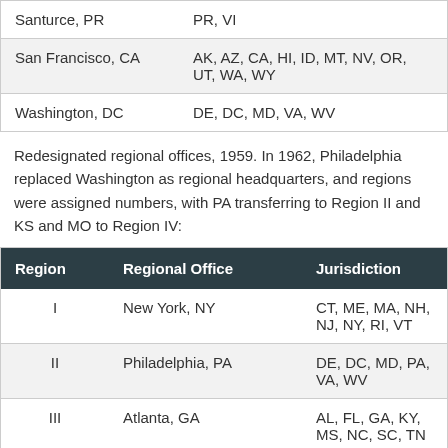| Regional Office | Jurisdiction |
| --- | --- |
| Santurce, PR | PR, VI |
| San Francisco, CA | AK, AZ, CA, HI, ID, MT, NV, OR, UT, WA, WY |
| Washington, DC | DE, DC, MD, VA, WV |
Redesignated regional offices, 1959. In 1962, Philadelphia replaced Washington as regional headquarters, and regions were assigned numbers, with PA transferring to Region II and KS and MO to Region IV:
| Region | Regional Office | Jurisdiction |
| --- | --- | --- |
| I | New York, NY | CT, ME, MA, NH, NJ, NY, RI, VT |
| II | Philadelphia, PA | DE, DC, MD, PA, VA, WV |
| III | Atlanta, GA | AL, FL, GA, KY, MS, NC, SC, TN |